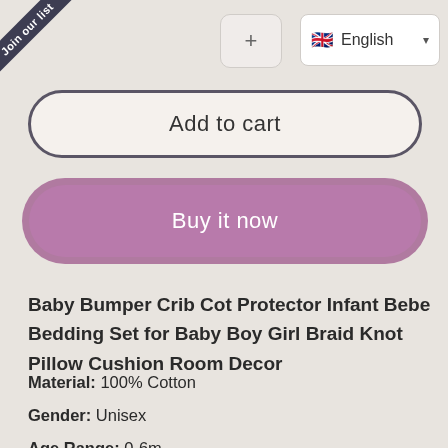[Figure (screenshot): Corner banner with text 'Join our list' on dark navy triangle in top-left corner]
[Figure (screenshot): Plus button and English language selector dropdown in top bar]
Add to cart
Buy it now
Baby Bumper Crib Cot Protector Infant Bebe Bedding Set for Baby Boy Girl Braid Knot Pillow Cushion Room Decor
Material: 100% Cotton
Gender: Unisex
Age Range: 0-6m